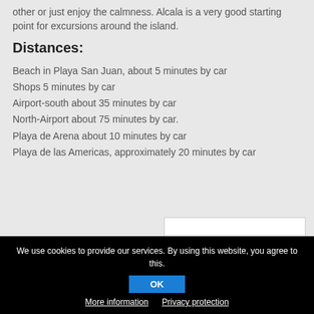other or just enjoy the calmness. Alcala is a very good starting point for excursions around the island.
Distances:
Beach in Playa San Juan, about 5 minutes by car
Shops 5 minutes by car
Airport-south about 35 minutes by car
North-Airport about 75 minutes by car.
Playa de Arena about 10 minutes by car
Playa de las Americas, approximately 20 minutes by car
We use cookies to provide our services. By using this website, you agree to this.
OK
More information   Privacy protection
terms and conditions